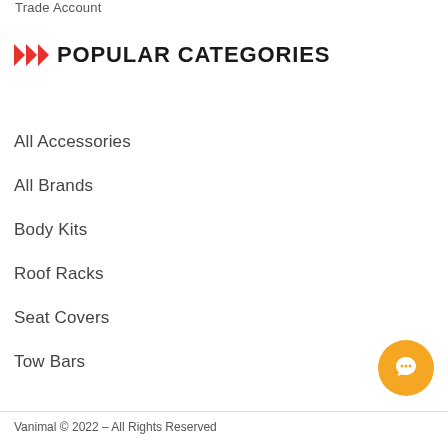Trade Account
POPULAR CATEGORIES
All Accessories
All Brands
Body Kits
Roof Racks
Seat Covers
Tow Bars
Vanimal © 2022 – All Rights Reserved